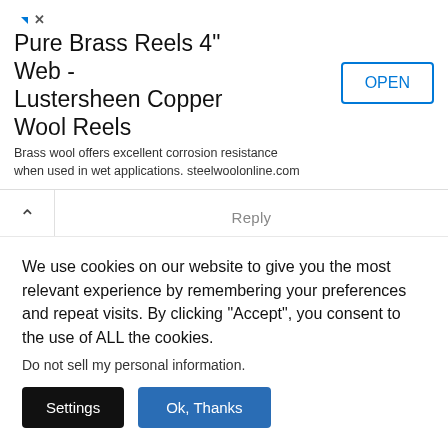[Figure (other): Advertisement banner for Pure Brass Reels 4" Web - Lustersheen Copper Wool Reels with OPEN button]
Reply
Gwendolyn Wright
06/10/2020 at 9:40 pm
i would like the written instructions
We use cookies on our website to give you the most relevant experience by remembering your preferences and repeat visits. By clicking “Accept”, you consent to the use of ALL the cookies.
Do not sell my personal information.
Settings
Ok, Thanks